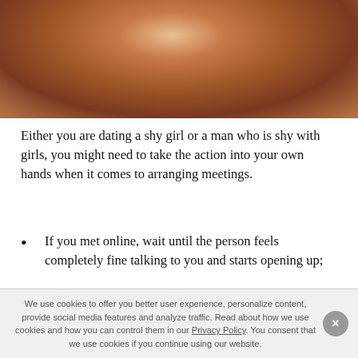[Figure (photo): Close-up photo of a person's hand touching a horse's face/mane, with warm brown and mauve tones]
Either you are dating a shy girl or a man who is shy with girls, you might need to take the action into your own hands when it comes to arranging meetings.
If you met online, wait until the person feels completely fine talking to you and starts opening up;
Offline communicate while you meet at parties or social events until you ask a person you like out.
We use cookies to offer you better user experience, personalize content, provide social media features and analyze traffic. Read about how we use cookies and how you can control them in our Privacy Policy. You consent that we use cookies if you continue using our website.